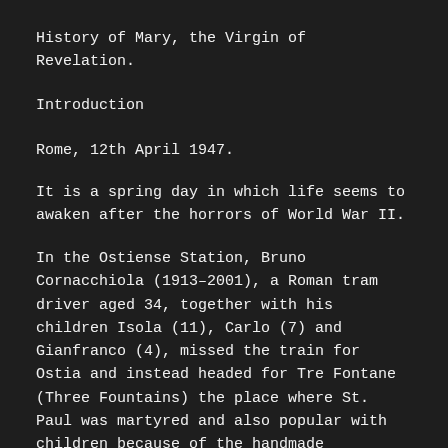History of Mary, the Virgin of Revelation.
Introduction
Rome, 12th April 1947.
It is a spring day in which life seems to awaken after the horrors of World War II.
In the Ostiense Station, Bruno Cornacchiola (1913–2001), a Roman tram driver aged 34, together with his children Isola (11), Carlo (7) and Gianfranco (4), missed the train for Ostia and instead headed for Tre Fontane (Three Fountains) the place where St. Paul was martyred and also popular with children because of the handmade chocolate produced by the Trappist Monks.